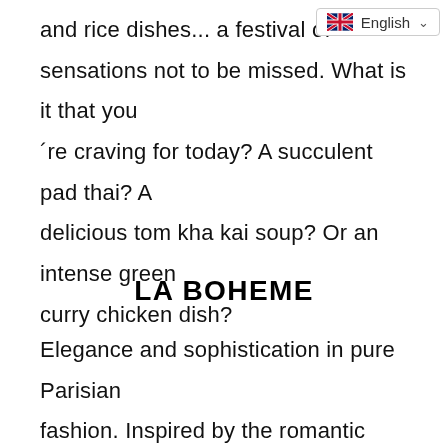and rice dishes... a festival of sensations not to be missed. What is it that you 're craving for today? A succulent pad thai? A delicious tom kha kai soup? Or an intense green curry chicken dish?
LA BOHEME
Elegance and sophistication in pure Parisian fashion. Inspired by the romantic French bistrots, La Bòheme offers classic recipes, such as steak tartare, French onion soup, foie gras,